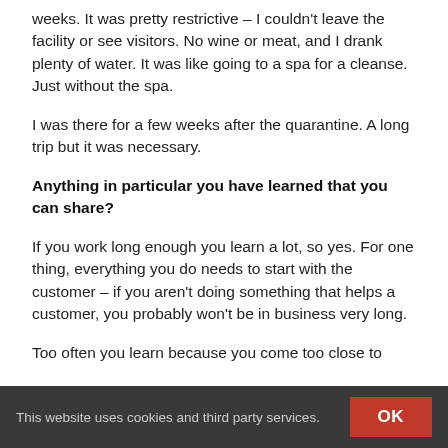weeks. It was pretty restrictive – I couldn't leave the facility or see visitors. No wine or meat, and I drank plenty of water. It was like going to a spa for a cleanse. Just without the spa.
I was there for a few weeks after the quarantine. A long trip but it was necessary.
Anything in particular you have learned that you can share?
If you work long enough you learn a lot, so yes. For one thing, everything you do needs to start with the customer – if you aren't doing something that helps a customer, you probably won't be in business very long.
Too often you learn because you come too close to
This website uses cookies and third party services.